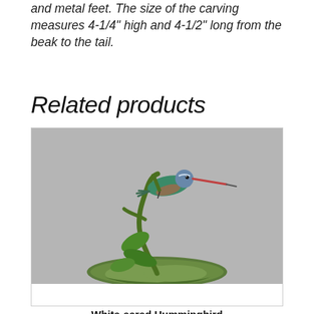and metal feet. The size of the carving measures 4-1/4" high and 4-1/2" long from the beak to the tail.
Related products
[Figure (photo): A carved and painted White-eared Hummingbird figurine perched on a green curved branch with leaves, mounted on a mossy base. The bird has a blue-grey head, green body, pinkish-red beak, and the piece is set against a grey background.]
White-eared Hummingbird